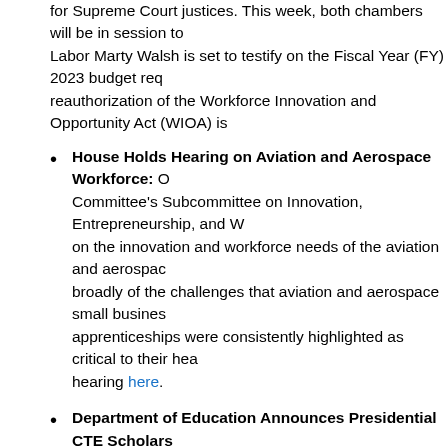for Supreme Court justices. This week, both chambers will be in session to Labor Marty Walsh is set to testify on the Fiscal Year (FY) 2023 budget req reauthorization of the Workforce Innovation and Opportunity Act (WIOA) is floor. Here are some news and notes to start your week:
House Holds Hearing on Aviation and Aerospace Workforce: On Committee's Subcommittee on Innovation, Entrepreneurship, and W on the innovation and workforce needs of the aviation and aerospac broadly of the challenges that aviation and aerospace small busines apprenticeships were consistently highlighted as critical to their hea hearing here.
Department of Education Announces Presidential CTE Scholars Miguel Cardona announced the 58th class of U.S. Presidential Scho seniors for their accomplishments in academics, arts and CTE. 20 o recognized this year. Learn more about the award winners here.
Bill to Support CTE Graduates Passed by House Small Busines Supporting Small Business and Career and Technical Education Ac Business Committee on May 13. The bill will assist small businesses programs and assist graduates with additional support to start their this legislation.